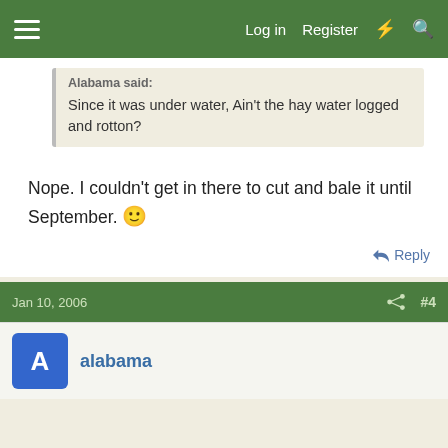Log in  Register
Alabama said:
Since it was under water, Ain't the hay water logged and rotton?
Nope. I couldn't get in there to cut and bale it until September. 🙂
Reply
Jan 10, 2006  #4
alabama